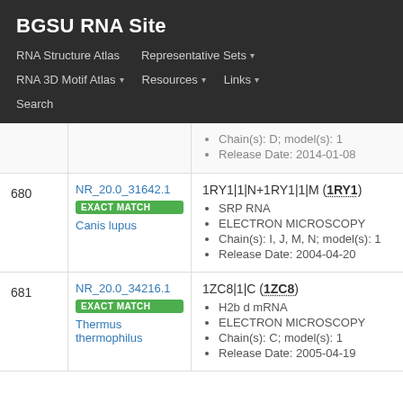BGSU RNA Site
RNA Structure Atlas | Representative Sets ▾ | RNA 3D Motif Atlas ▾ | Resources ▾ | Links ▾ | Search
| # | ID / Match / Organism | Entry Details |
| --- | --- | --- |
|  |  | Chain(s): D; model(s): 1 | Release Date: 2014-01-08 |
| 680 | NR_20.0_31642.1 | EXACT MATCH | Canis lupus | 1RY1|1|N+1RY1|1|M (1RY1) | SRP RNA | ELECTRON MICROSCOPY | Chain(s): I, J, M, N; model(s): 1 | Release Date: 2004-04-20 |
| 681 | NR_20.0_34216.1 | EXACT MATCH | Thermus thermophilus | 1ZC8|1|C (1ZC8) | H2b d mRNA | ELECTRON MICROSCOPY | Chain(s): C; model(s): 1 | Release Date: 2005-04-19 |